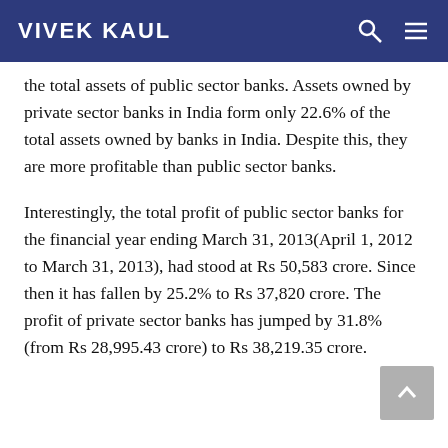VIVEK KAUL
the total assets of public sector banks. Assets owned by private sector banks in India form only 22.6% of the total assets owned by banks in India. Despite this, they are more profitable than public sector banks.
Interestingly, the total profit of public sector banks for the financial year ending March 31, 2013(April 1, 2012 to March 31, 2013), had stood at Rs 50,583 crore. Since then it has fallen by 25.2% to Rs 37,820 crore. The profit of private sector banks has jumped by 31.8% (from Rs 28,995.43 crore) to Rs 38,219.35 crore.